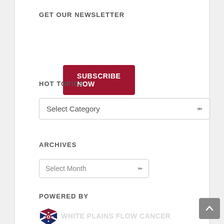GET OUR NEWSLETTER
SUBSCRIBE NOW
HOT TOPICS
Select Category
ARCHIVES
Select Month
POWERED BY
[Figure (logo): Organization logo with red, white, and blue shield/emblem design]